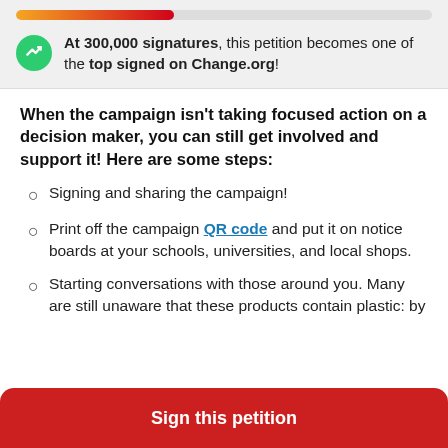[Figure (infographic): Progress bar showing petition signatures, partially filled from orange to red, approximately 38% complete]
At 300,000 signatures, this petition becomes one of the top signed on Change.org!
When the campaign isn’t taking focused action on a decision maker, you can still get involved and support it! Here are some steps:
Signing and sharing the campaign!
Print off the campaign QR code and put it on notice boards at your schools, universities, and local shops.
Starting conversations with those around you. Many are still unaware that these products contain plastic: by
Sign this petition